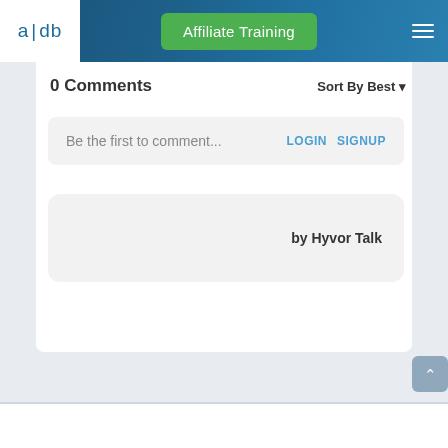[Figure (screenshot): Website navigation bar with logo 'a|db' on white background, green 'Affiliate Training' button in center, and hamburger menu icon on the right, on a dark teal gradient background]
0 Comments
Sort By Best ▾
Be the first to comment... LOGIN SIGNUP
by Hyvor Talk